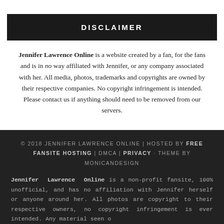DISCLAIMER
Jennifer Lawrence Online is a website created by a fan, for the fans and is in no way affiliated with Jennifer, or any company associated with her. All media, photos, trademarks and copyrights are owned by their respective companies. No copyright infringement is intended. Please contact us if anything should need to be removed from our servers.
© 2018 JENNIFER LAWRENCE ONLINE | HOSTED BY FREE FANSITE HOSTING | DMCA | PRIVACY · THEME BY MONICANDESIGN
Jennifer Lawrence Online is a non-profit fansite, 100% unofficial, and has no affiliation with Jennifer herself or anyone around her. All photos are copyright to their respective owners, no copyright infringement is ever intended. Any material seen o